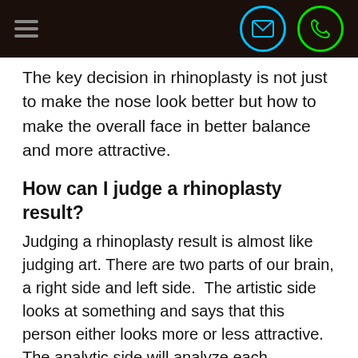[navigation bar with hamburger menu, email icon, phone icon]
The key decision in rhinoplasty is not just to make the nose look better but how to make the overall face in better balance and more attractive.
How can I judge a rhinoplasty result?
Judging a rhinoplasty result is almost like judging art. There are two parts of our brain, a right side and left side. The artistic side looks at something and says that this person either looks more or less attractive. The analytic side will analyze each component of the nose. The easiest thing to do is look at a face or nose and just see without thinking whether you like or don't. This is where the artistry of creating a nose is seen and felt by the patient and observer alike. The analytic part of analyzing rhinoplasty involves looking at each component and seeing if a positive change was